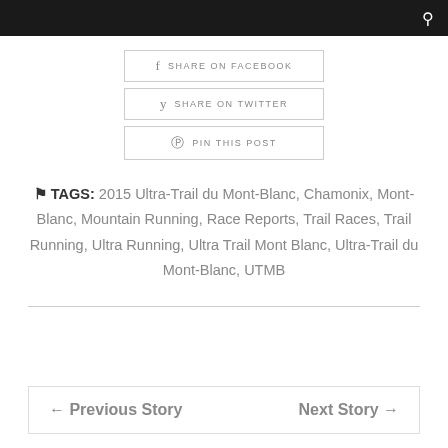SHARE ON FACEBOOK
SHARE ON TWITTER
PIN THIS POST
TAGS: 2015 Ultra-Trail du Mont-Blanc, Chamonix, Mont-Blanc, Mountain Running, Race Reports, Trail Races, Trail Running, Ultra Running, Ultra Trail Mont Blanc, Ultra-Trail du Mont-Blanc, UTMB
← Previous Story    Next Story →